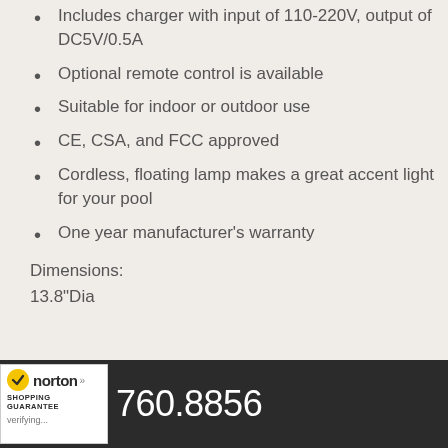Includes charger with input of 110-220V, output of DC5V/0.5A
Optional remote control is available
Suitable for indoor or outdoor use
CE, CSA, and FCC approved
Cordless, floating lamp makes a great accent light for your pool
One year manufacturer's warranty
Dimensions:
13.8"Dia
[Figure (logo): Norton Shopping Guarantee badge with yellow checkmark]
760.8856